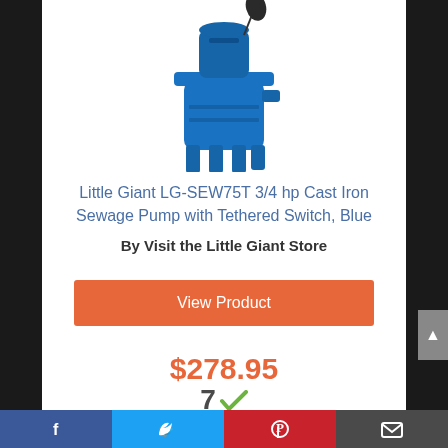[Figure (photo): Blue cast iron sewage pump (Little Giant LG-SEW75T) with black tethered float switch, standing on four legs, photographed against white background]
Little Giant LG-SEW75T 3/4 hp Cast Iron Sewage Pump with Tethered Switch, Blue
By Visit the Little Giant Store
View Product
$278.95
Prime
Facebook | Twitter | Pinterest | Email